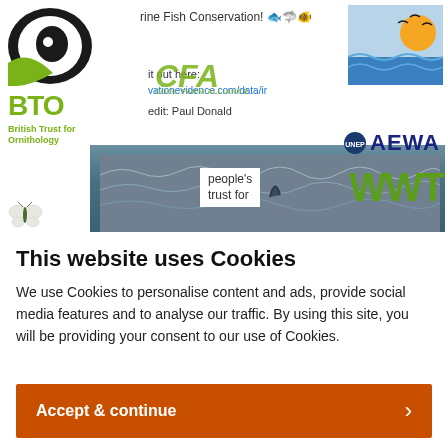[Figure (screenshot): Collage of wildlife/conservation organization logos and images: BTO (British Trust for Ornithology) logo with eye graphic and green text, marine fish emoji icons with text 'rine Fish Conservation!', Cool Farm Alliance (CFA) green logo, a coastal sunset graphic, AEWA (UNEP) logo, a URL 'vationevidence.com/data/ir', credit 'edit: Paul Donald', ocean photo with dolphin fin, 'people's trust for' text overlay, WWT green logo letters, Butterfly Conservation logo]
This website uses Cookies
We use Cookies to personalise content and ads, provide social media features and to analyse our traffic. By using this site, you will be providing your consent to our use of Cookies.
Accept & continue